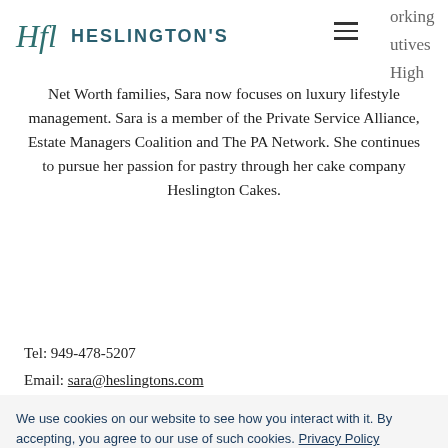HESLINGTON'S
Net Worth families, Sara now focuses on luxury lifestyle management. Sara is a member of the Private Service Alliance, Estate Managers Coalition and The PA Network. She continues to pursue her passion for pastry through her cake company Heslington Cakes.
Tel: 949-478-5207
Email: sara@heslingtons.com
We use cookies on our website to see how you interact with it. By accepting, you agree to our use of such cookies. Privacy Policy
Decline All
Accept
Settings